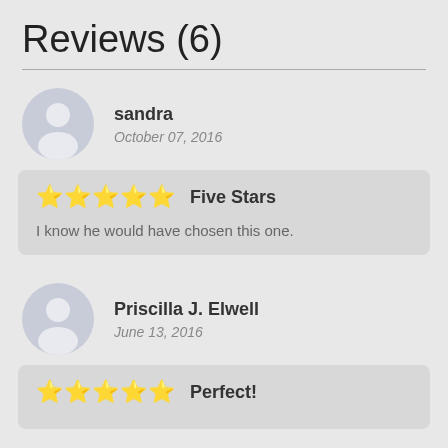Reviews (6)
sandra
October 07, 2016
★★★★★  Five Stars
I know he would have chosen this one.
Priscilla J. Elwell
June 13, 2016
★★★★★  Perfect!